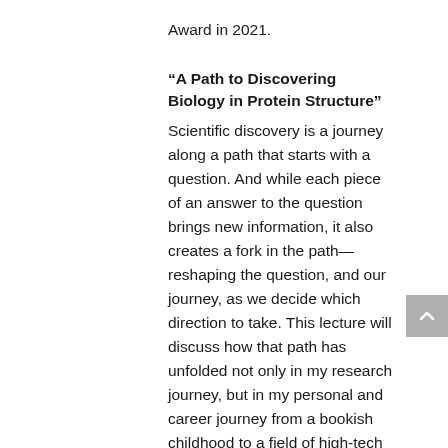Award in 2021.
“A Path to Discovering Biology in Protein Structure”
Scientific discovery is a journey along a path that starts with a question. And while each piece of an answer to the question brings new information, it also creates a fork in the path—reshaping the question, and our journey, as we decide which direction to take. This lecture will discuss how that path has unfolded not only in my research journey, but in my personal and career journey from a bookish childhood to a field of high-tech scientific research. My love